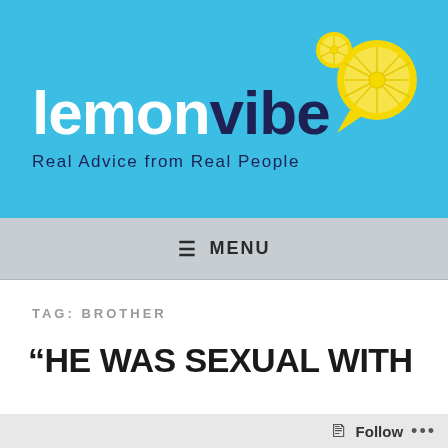[Figure (logo): lemonvibe logo with lemon slice speech bubble graphic on blue background, tagline: Real Advice from Real People]
≡  MENU
TAG: BROTHER
“HE WAS SEXUAL WITH
Follow ...